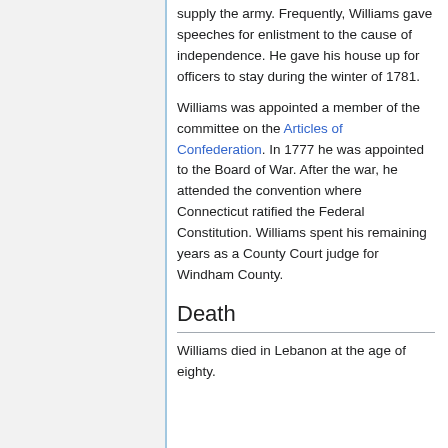supply the army. Frequently, Williams gave speeches for enlistment to the cause of independence. He gave his house up for officers to stay during the winter of 1781.
Williams was appointed a member of the committee on the Articles of Confederation. In 1777 he was appointed to the Board of War. After the war, he attended the convention where Connecticut ratified the Federal Constitution. Williams spent his remaining years as a County Court judge for Windham County.
Death
Williams died in Lebanon at the age of eighty.